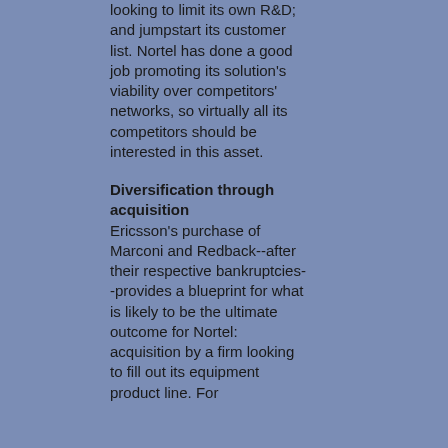looking to limit its own R&D; and jumpstart its customer list. Nortel has done a good job promoting its solution's viability over competitors' networks, so virtually all its competitors should be interested in this asset.
Diversification through acquisition
Ericsson's purchase of Marconi and Redback--after their respective bankruptcies--provides a blueprint for what is likely to be the ultimate outcome for Nortel: acquisition by a firm looking to fill out its equipment product line. For